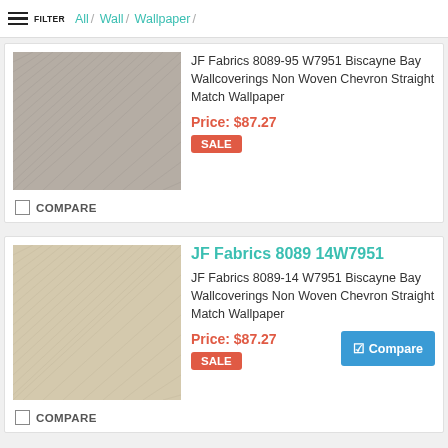FILTER  All / Wall / Wallpaper /
[Figure (photo): Gray chevron textured wallpaper swatch]
JF Fabrics 8089-95 W7951 Biscayne Bay Wallcoverings Non Woven Chevron Straight Match Wallpaper
Price: $87.27
SALE
COMPARE
JF Fabrics 8089 14W7951
[Figure (photo): Beige/tan chevron textured wallpaper swatch]
JF Fabrics 8089-14 W7951 Biscayne Bay Wallcoverings Non Woven Chevron Straight Match Wallpaper
Price: $87.27
SALE
Compare
COMPARE